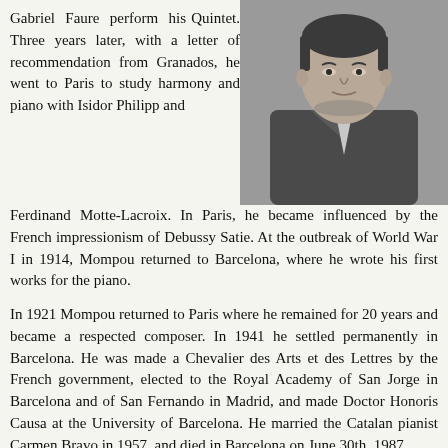Gabriel Faure perform his Quintet. Three years later, with a letter of recommendation from Granados, he went to Paris to study harmony and piano with Isidor Philipp and Ferdinand Motte-Lacroix. In Paris, he became influenced by the French impressionism of Debussy Satie. At the outbreak of World War I in 1914, Mompou returned to Barcelona, where he wrote his first works for the piano.
[Figure (photo): Black and white portrait photograph of a man in a suit]
In 1921 Mompou returned to Paris where he remained for 20 years and became a respected composer. In 1941 he settled permanently in Barcelona. He was made a Chevalier des Arts et des Lettres by the French government, elected to the Royal Academy of San Jorge in Barcelona and of San Fernando in Madrid, and made Doctor Honoris Causa at the University of Barcelona. He married the Catalan pianist Carmen Bravo in 1957, and died in Barcelona on June 30th, 1987.
Mompou was a modest, quietly spoken, and thoughtful person and this is reflected in his music. He wrote no operas, concertos or symphonies, and some choral works are as close as he got to producing large-scale works. He was predominantly a composer of lyric songs and piano miniatures. The music is imbued with the colours, sounds, and images of his beloved Catalonia, the style ranging from elegantly impressionistic to simplistic and minimal. Here we see the influence of Satie in using the utmost economy of means, doing away with key signatures and bar lines, and occasionally